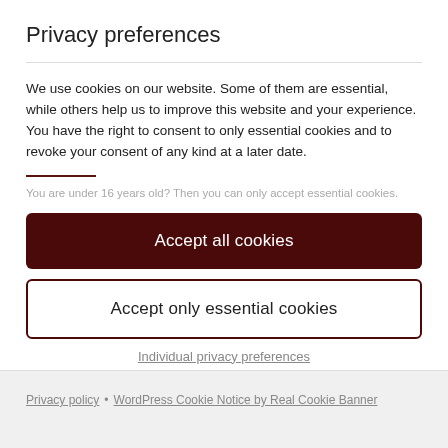Privacy preferences
We use cookies on our website. Some of them are essential, while others help us to improve this website and your experience. You have the right to consent to only essential cookies and to revoke your consent of any kind at a later date.
You are under 16 years old? Then you can only accept essential cookies.
Accept all cookies
Accept only essential cookies
Individual privacy preferences
Privacy policy · WordPress Cookie Notice by Real Cookie Banner